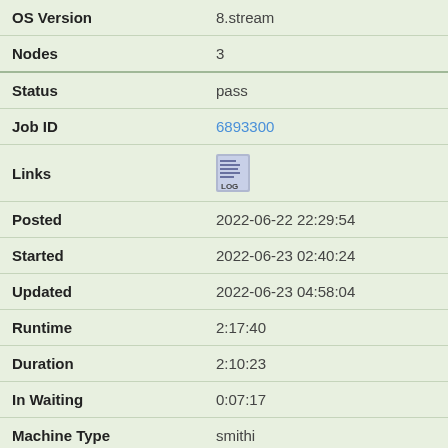| Field | Value |
| --- | --- |
| OS Version | 8.stream |
| Nodes | 3 |
| Status | pass |
| Job ID | 6893300 |
| Links | [LOG icon] |
| Posted | 2022-06-22 22:29:54 |
| Started | 2022-06-23 02:40:24 |
| Updated | 2022-06-23 04:58:04 |
| Runtime | 2:17:40 |
| Duration | 2:10:23 |
| In Waiting | 0:07:17 |
| Machine Type | smithi |
| Teuthology Branch | main |
| OS Type | centos |
| OS Version | 8.stream |
| Nodes | 1 |